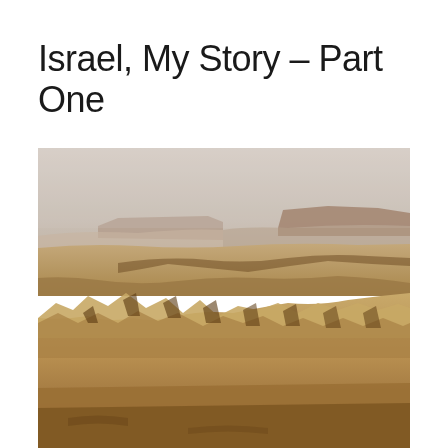Israel, My Story – Part One
[Figure (photo): Panoramic desert landscape photograph showing eroded sandy and rocky terrain with jagged ridge formations in the foreground, a wide flat valley in the middle ground, and flat-topped mesa mountains in the background under a hazy pale sky. The colors are warm earth tones of tan, ochre, brown, and muted grey.]